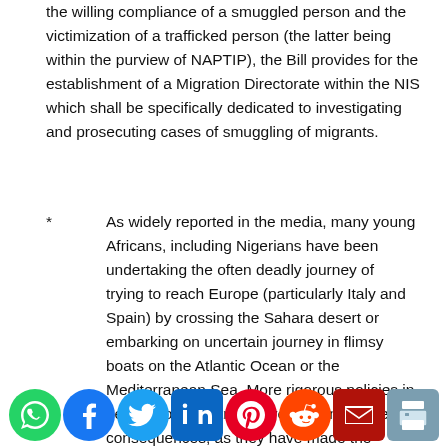the willing compliance of a smuggled person and the victimization of a trafficked person (the latter being within the purview of NAPTIP), the Bill provides for the establishment of a Migration Directorate within the NIS which shall be specifically dedicated to investigating and prosecuting cases of smuggling of migrants.
* As widely reported in the media, many young Africans, including Nigerians have been undertaking the often deadly journey of trying to reach Europe (particularly Italy and Spain) by crossing the Sahara desert or embarking on uncertain journey in flimsy boats on the Atlantic Ocean or the Mediterranean Sea. More rigorous policies in destination countries have had unintended consequences, as they have made the market for smuggling of migrants more lucrative
[Figure (infographic): Social sharing icons row: WhatsApp (green circle), Facebook (dark blue circle), Twitter (light blue circle), LinkedIn (dark blue square), Pinterest (red circle), Reddit (orange circle), Email/envelope (dark red square), Print (grey/blue printer icon)]